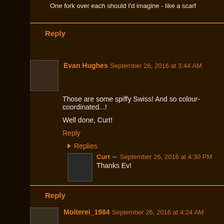One fork over each should I'd imagine - like a scarf
Reply
Evan Hughes  September 26, 2016 at 3:44 AM
Those are some spiffy Swiss! And so colour-coordinated...!
Well done, Curt!
Reply
Replies
Curt  September 26, 2016 at 4:30 PM
Thanks Ev!
Reply
Moiterei_1984  September 26, 2016 at 4:24 AM